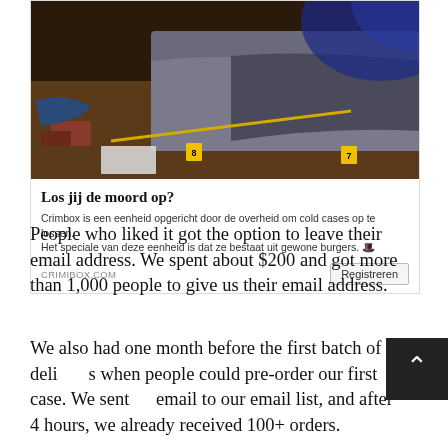[Figure (photo): Advertisement showing a crime scene photo (dark room with bed, evidence markers numbered 7 and 8, yellow tape) for Crimibox. Dutch text: 'Los jij de moord op?' with description and Registreren button. URL: CRIMIBOX.COM]
People who liked it got the option to leave their email address. We spent about $200 and got more than 1,000 people to give us their email address.
We also had one month before the first batch of de[liveries] when people could pre-order our first case. We sent [an] email to our email list, and after 4 hours, we already received 100+ orders.